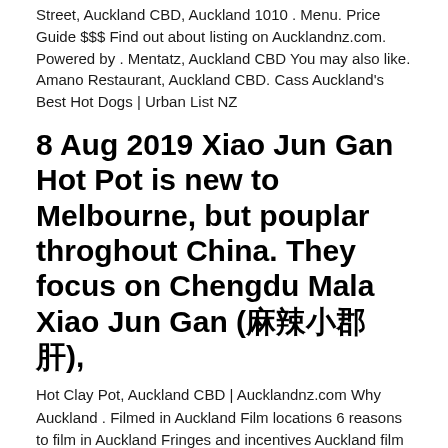Street, Auckland CBD, Auckland 1010 . Menu. Price Guide $$$ Find out about listing on Aucklandnz.com. Powered by . Mentatz, Auckland CBD You may also like. Amano Restaurant, Auckland CBD. Cass Auckland's Best Hot Dogs | Urban List NZ
8 Aug 2019 Xiao Jun Gan Hot Pot is new to Melbourne, but pouplar throghout China. They focus on Chengdu Mala Xiao Jun Gan (麻辣小郡肝),
Hot Clay Pot, Auckland CBD | Aucklandnz.com Why Auckland . Filmed in Auckland Film locations 6 reasons to film in Auckland Fringes and incentives Auckland film industry . Film studios Digital, Pre & Post Production Skills and talent Before you start filming Hot Pot Restaurants in Auckland - Menumania/Zomato Hot Pot Restaurants in Auckland.